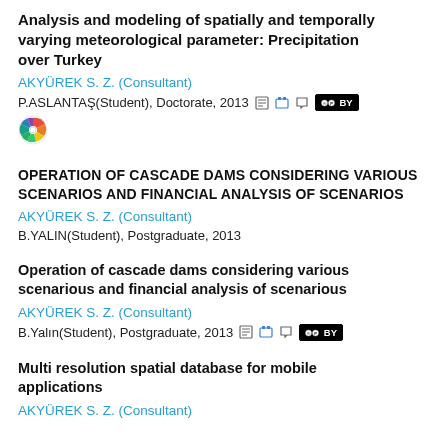Analysis and modeling of spatially and temporally varying meteorological parameter: Precipitation over Turkey
AKYÜREK S. Z. (Consultant)
P.ASLANTAŞ(Student), Doctorate, 2013
OPERATION OF CASCADE DAMS CONSIDERING VARIOUS SCENARIOS AND FINANCIAL ANALYSIS OF SCENARIOS
AKYÜREK S. Z. (Consultant)
B.YALIN(Student), Postgraduate, 2013
Operation of cascade dams considering various scenarious and financial analysis of scenarious
AKYÜREK S. Z. (Consultant)
B.Yalın(Student), Postgraduate, 2013
Multi resolution spatial database for mobile applications
AKYÜREK S. Z. (Consultant)